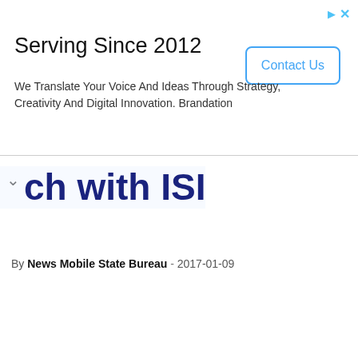[Figure (screenshot): Advertisement banner: 'Serving Since 2012' with tagline and Contact Us button, plus close/ad icons in top-right corner]
...ch with ISI
By News Mobile State Bureau - 2017-01-09